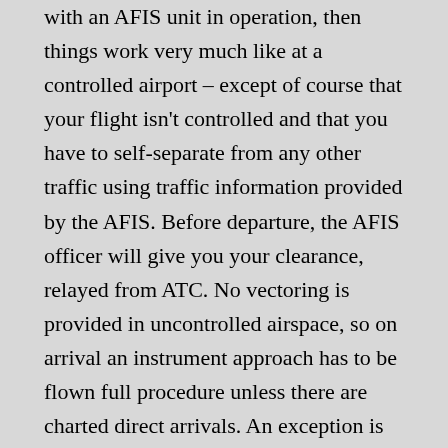with an AFIS unit in operation, then things work very much like at a controlled airport – except of course that your flight isn't controlled and that you have to self-separate from any other traffic using traffic information provided by the AFIS. Before departure, the AFIS officer will give you your clearance, relayed from ATC. No vectoring is provided in uncontrolled airspace, so on arrival an instrument approach has to be flown full procedure unless there are charted direct arrivals. An exception is when then airport lies below a TMA, like one of the example uncontrolled airports in figure 1. In that case the approach control for the TMA can vector you to final. That is also the only situation where you need an approach clearance to an